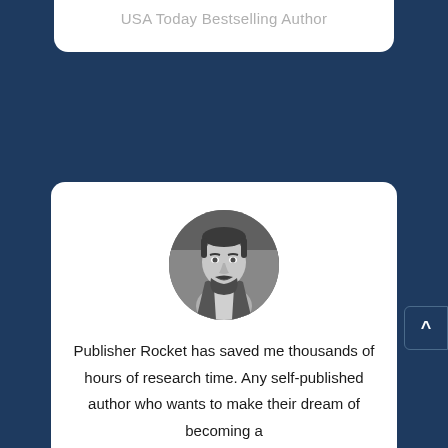USA Today Bestselling Author
[Figure (photo): Black and white circular headshot of a man with short dark hair and a beard, wearing a jacket, photographed indoors.]
Publisher Rocket has saved me thousands of hours of research time. Any self-published author who wants to make their dream of becoming a